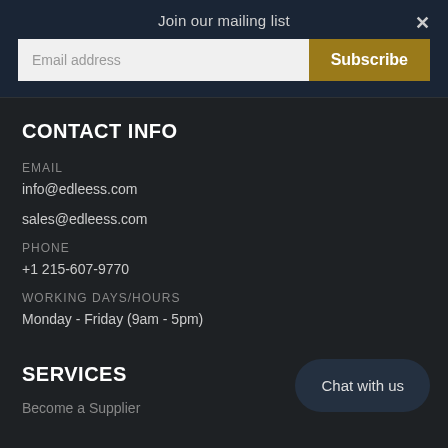Join our mailing list
Email address
Subscribe
CONTACT INFO
EMAIL
info@edleess.com
sales@edleess.com
PHONE
+1 215-607-9770
WORKING DAYS/HOURS
Monday - Friday (9am - 5pm)
SERVICES
Chat with us
Become a Supplier